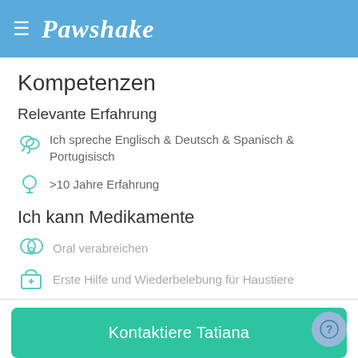Pawshake
Kompetenzen
Relevante Erfahrung
Ich spreche Englisch & Deutsch & Spanisch & Portugisisch
>10 Jahre Erfahrung
Ich kann Medikamente
Oral verabreichen
Erste Hilfe und Wiederbelebung für Haustiere
Kontaktiere Tatiana